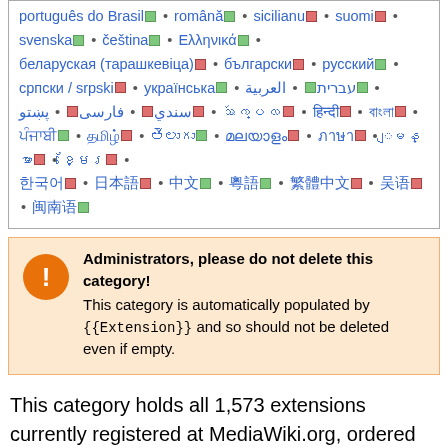português do Brasil • română • sicilianu • suomi • svenska • čeština • Ελληνικά • беларуская (тарашкевіца) • български • русский • српски / srpski • українська • עברית • العربية • سندي • فارسی • پښتو • ᩇ᩶ᨠ᩠ᨷᩃ • हिन्दी • বাংলা • ...
Administrators, please do not delete this category! This category is automatically populated by {{Extension}} and so should not be deleted even if empty.
This category holds all 1,573 extensions currently registered at MediaWiki.org, ordered alphabetically.